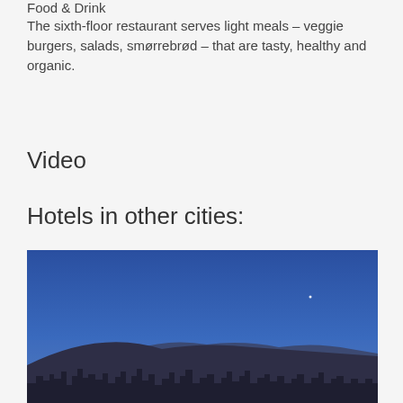Food & Drink
The sixth-floor restaurant serves light meals – veggie burgers, salads, smørrebrød – that are tasty, healthy and organic.
Video
Hotels in other cities:
[Figure (photo): Cityscape at dusk/night with dense urban buildings silhouetted against a deep blue sky, mountains visible in the background, and a faint star or light in the upper right area of the sky.]